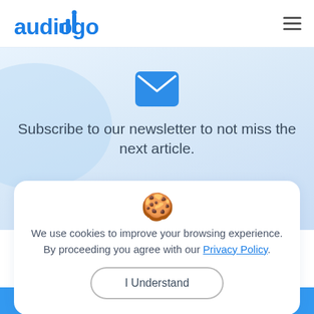[Figure (logo): Audiogo logo with blue bar-chart signal icon and blue text 'audiogo']
[Figure (illustration): Blue envelope/mail icon centered on light blue gradient background]
Subscribe to our newsletter to not miss the next article.
[Figure (illustration): Cookie emoji icon centered in white card]
We use cookies to improve your browsing experience. By proceeding you agree with our Privacy Policy.
I Understand